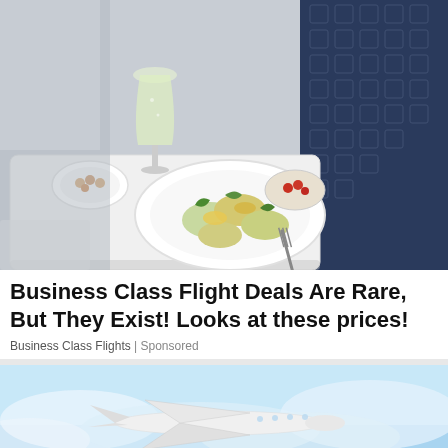[Figure (photo): Airplane business class tray table with a plate of dumplings with vegetables, a glass of champagne/white wine, and a small dish of tomatoes. Dark blue patterned seats visible in background.]
Business Class Flight Deals Are Rare, But They Exist! Looks at these prices!
Business Class Flights | Sponsored
[Figure (photo): Airplane flying through cloudy blue sky, viewed from slightly below.]